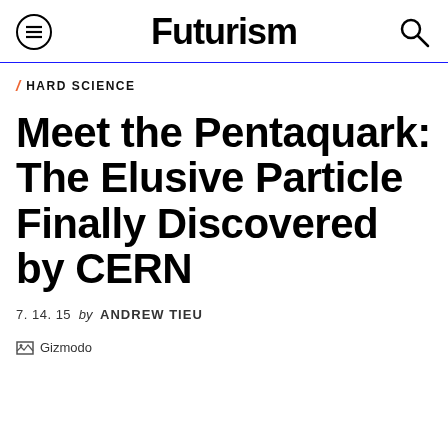Futurism
/ HARD SCIENCE
Meet the Pentaquark: The Elusive Particle Finally Discovered by CERN
7. 14. 15 by ANDREW TIEU
[Figure (photo): Broken image placeholder labeled 'Gizmodo']